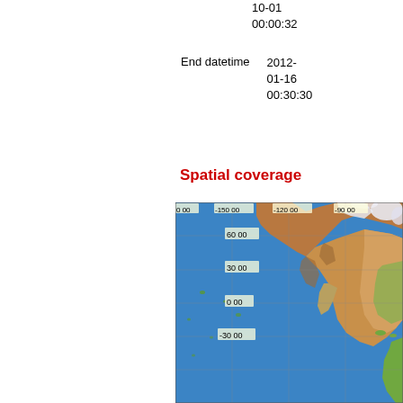10-01 00:00:32
End datetime    2012-01-16 00:30:30
Spatial coverage
[Figure (map): World map showing spatial coverage with latitude/longitude grid lines. Shows North America, Pacific Ocean region. Latitude labels: 60 00, 30 00, 0 00, -30 00. Longitude labels: 0 00, -150 00, -120 00, -90 00.]